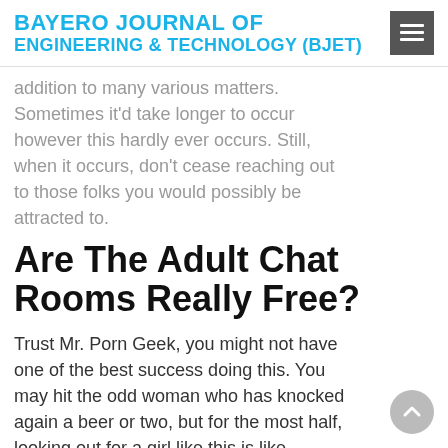BAYERO JOURNAL OF ENGINEERING & TECHNOLOGY (BJET)
addition to many various matters. Sometimes it'd take longer to occur however this hardly ever occurs. Still, when it occurs, don't cease reaching out to those folks you would possibly be attracted to.
Are The Adult Chat Rooms Really Free?
Trust Mr. Porn Geek, you might not have one of the best success doing this. You may hit the odd woman who has knocked again a beer or two, but for the most half, looking out for a girl like this is like searching for a needle in a haystack. If, like us, you spent many pre-teen hours